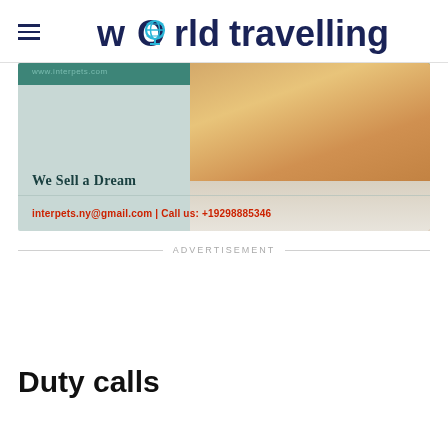worldtravelling
[Figure (photo): Advertisement banner for interpets showing a fluffy orange kitten with text 'We Sell a Dream' and contact info 'interpets.ny@gmail.com | Call us: +19298885346']
ADVERTISEMENT
Duty calls